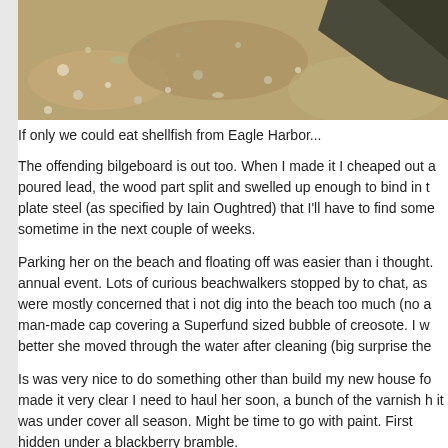[Figure (photo): Close-up photograph of rocky/sandy beach surface with pebbles, shells, and gravel texture. Dark rocky surface visible in upper right corner.]
If only we could eat shellfish from Eagle Harbor...
The offending bilgeboard is out too. When I made it I cheaped out and poured lead, the wood part split and swelled up enough to bind in the plate steel (as specified by Iain Oughtred) that I'll have to find some sometime in the next couple of weeks.
Parking her on the beach and floating off was easier than i thought. annual event. Lots of curious beachwalkers stopped by to chat, as were mostly concerned that i not dig into the beach too much (no a man-made cap covering a Superfund sized bubble of creosote. I w better she moved through the water after cleaning (big surprise the
Is was very nice to do something other than build my new house fo made it very clear I need to haul her soon, a bunch of the varnish h it was under cover all season. Might be time to go with paint. First hidden under a blackberry bramble.
Ah, the joys of being a boater
Steve